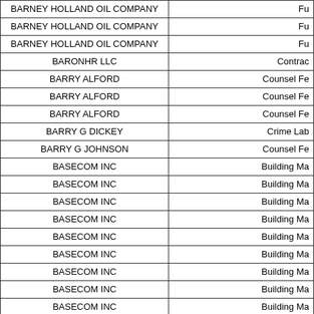| Vendor Name | Category |
| --- | --- |
| BARNEY HOLLAND OIL COMPANY | Fu |
| BARNEY HOLLAND OIL COMPANY | Fu |
| BARNEY HOLLAND OIL COMPANY | Fu |
| BARONHR LLC | Contrac |
| BARRY ALFORD | Counsel Fe |
| BARRY ALFORD | Counsel Fe |
| BARRY ALFORD | Counsel Fe |
| BARRY G DICKEY | Crime Lab |
| BARRY G JOHNSON | Counsel Fe |
| BASECOM INC | Building Ma |
| BASECOM INC | Building Ma |
| BASECOM INC | Building Ma |
| BASECOM INC | Building Ma |
| BASECOM INC | Building Ma |
| BASECOM INC | Building Ma |
| BASECOM INC | Building Ma |
| BASECOM INC | Building Ma |
| BASECOM INC | Building Ma |
| BASECOM INC | Building Ma |
| BASECOM INC | Building Ma |
| BASECOM INC | Building Ma |
| BAUDVILLE INC | Educational |
| BAUDVILLE INC | Suppl |